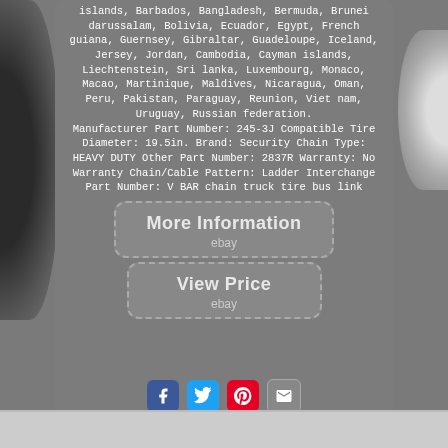islands, Barbados, Bangladesh, Bermuda, Brunei darussalam, Bolivia, Ecuador, Egypt, French guiana, Guernsey, Gibraltar, Guadeloupe, Iceland, Jersey, Jordan, Cambodia, Cayman islands, Liechtenstein, Sri lanka, Luxembourg, Monaco, Macao, Martinique, Maldives, Nicaragua, Oman, Peru, Pakistan, Paraguay, Reunion, Viet nam, Uruguay, Russian federation.
Manufacturer Part Number: 245-3J Compatible Tire Diameter: 19.5in. Brand: Security Chain Type: HEAVY DUTY Other Part Number: 2837R Warranty: No Warranty Chain/Cable Pattern: Ladder Interchange Part Number: V BAR chain truck tire bus link
[Figure (screenshot): Button with dashed border reading 'More Information' with eBay logo text below]
[Figure (screenshot): Button with dashed border reading 'View Price' with eBay logo text below]
[Figure (infographic): Social media sharing icons: Facebook (blue), Twitter (light blue), Pinterest (red), Email (grey)]